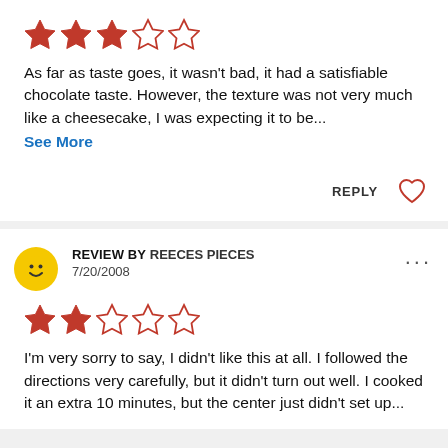[Figure (other): 3 out of 5 star rating shown with red filled stars and empty stars]
As far as taste goes, it wasn't bad, it had a satisfiable chocolate taste. However, the texture was not very much like a cheesecake, I was expecting it to be...
See More
REPLY
[Figure (other): Heart icon (like button)]
[Figure (other): Yellow smiley face avatar icon]
REVIEW BY REECES PIECES
7/20/2008
[Figure (other): 2 out of 5 star rating shown with red filled stars and empty stars]
I'm very sorry to say, I didn't like this at all. I followed the directions very carefully, but it didn't turn out well. I cooked it an extra 10 minutes, but the center just didn't set up...